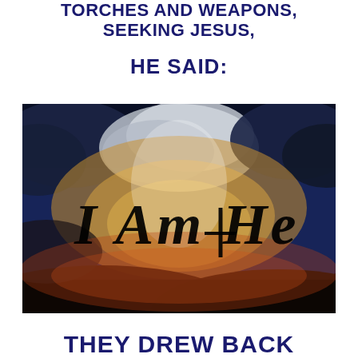TORCHES AND WEAPONS, SEEKING JESUS,
HE SAID:
[Figure (photo): Dramatic sky with dark clouds and golden light breaking through, with the text 'I AM HE' overlaid in stylized black lettering.]
THEY DREW BACK